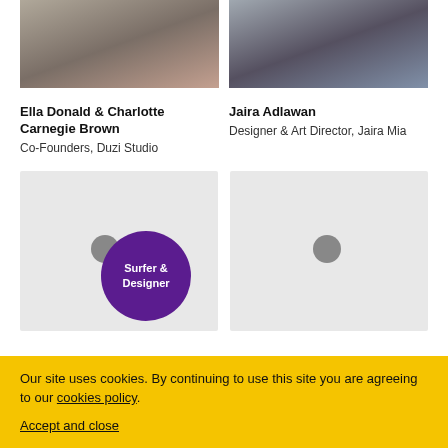[Figure (photo): Photo of Ella Donald and Charlotte Carnegie Brown sitting together]
Ella Donald & Charlotte Carnegie Brown
Co-Founders, Duzi Studio
[Figure (photo): Photo of Jaira Adlawan standing with a white dog]
Jaira Adlawan
Designer & Art Director, Jaira Mia
[Figure (photo): Placeholder image with purple circle overlay reading Surfer & Designer]
[Figure (photo): Placeholder image with grey dot]
Our site uses cookies. By continuing to use this site you are agreeing to our cookies policy.

Accept and close